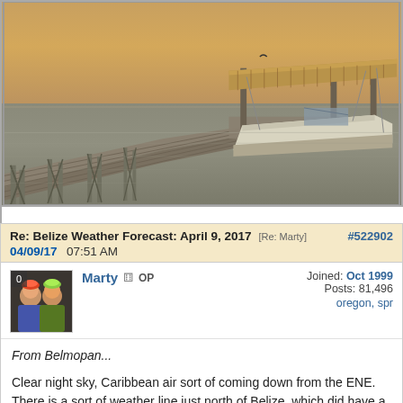[Figure (photo): A wooden dock extending over calm water toward a thatched-roof boat house with a motorboat underneath, photographed at dusk/dawn with golden-grey sky.]
Re: Belize Weather Forecast: April 9, 2017 [Re: Marty]  #522902
04/09/17 07:51 AM
Marty OP
Joined: Oct 1999
Posts: 81,496
oregon, spr
From Belmopan...

Clear night sky, Caribbean air sort of coming down from the ENE. There is a sort of weather line just north of Belize, which did have a little rain in it during the early morning, but that drying up now. The